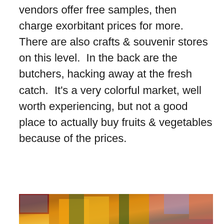vendors offer free samples, then charge exorbitant prices for more.  There are also crafts & souvenir stores on this level.  In the back are the butchers, hacking away at the fresh catch.  It's a very colorful market, well worth experiencing, but not a good place to actually buy fruits & vegetables because of the prices.
[Figure (photo): A vibrant close-up photograph of a colorful flower market display featuring large orange bird-of-paradise flowers in the foreground, with pink, white, purple, and other tropical flowers behind them, and a red-framed window visible in the background.]